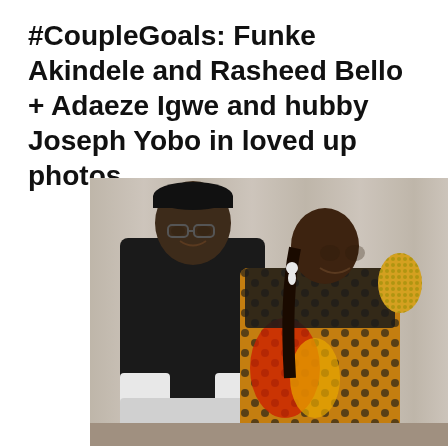#CoupleGoals: Funke Akindele and Rasheed Bello + Adaeze Igwe and hubby Joseph Yobo in loved up photos...
[Figure (photo): A couple posing together. The man is tall, wearing a black traditional African outfit with white embroidered cuffs and a black cap, with glasses. The woman is shorter, wearing a yellow/orange African print dress with black top and decorative shoulder embellishment. They are standing against a light curtained background.]